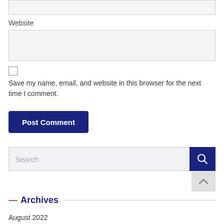Website
Save my name, email, and website in this browser for the next time I comment.
Post Comment
Search
— Archives
August 2022